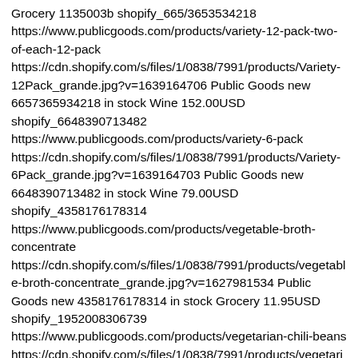Grocery 1135003b shopify_665/3653534218 https://www.publicgoods.com/products/variety-12-pack-two-of-each-12-pack https://cdn.shopify.com/s/files/1/0838/7991/products/Variety-12Pack_grande.jpg?v=1639164706 Public Goods new 6657365934218 in stock Wine 152.00USD shopify_6648390713482 https://www.publicgoods.com/products/variety-6-pack https://cdn.shopify.com/s/files/1/0838/7991/products/Variety-6Pack_grande.jpg?v=1639164703 Public Goods new 6648390713482 in stock Wine 79.00USD shopify_4358176178314 https://www.publicgoods.com/products/vegetable-broth-concentrate https://cdn.shopify.com/s/files/1/0838/7991/products/vegetable-broth-concentrate_grande.jpg?v=1627981534 Public Goods new 4358176178314 in stock Grocery 11.95USD shopify_1952008306739 https://www.publicgoods.com/products/vegetarian-chili-beans https://cdn.shopify.com/s/files/1/0838/7991/products/vegetarian-chili-beans_grande.jpg?v=1627997011 Public Goods new 1952008306739 in stock Grocery 1.95USD shopify_4247218290739 https://www.publicgoods.com/products/veggie-chips https://cdn.shopify.com/s/files/1/0838/7991/products/veggie-chips_grande.jpg?v=1628078728 Public Goods new 4247218290739 in stock Grocery 3.95USD